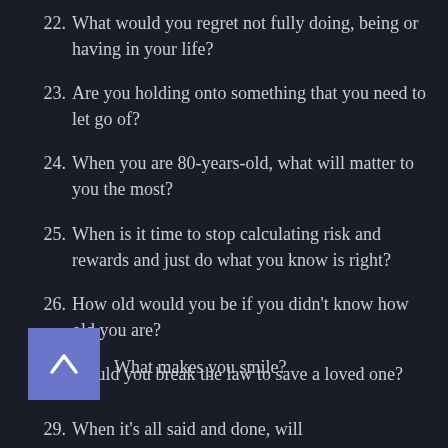22. What would you regret not fully doing, being or having in your life?
23. Are you holding onto something that you need to let go of?
24. When you are 80-years-old, what will matter to you the most?
25. When is it time to stop calculating risk and rewards and just do what you know is right?
26. How old would you be if you didn't know how old you are?
27. Would you break the law to save a loved one?
28. What makes you smile?
29. When it's all said and done, will